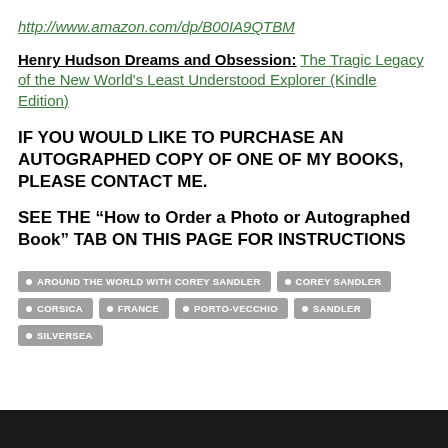http://www.amazon.com/dp/B00IA9QTBM
Henry Hudson Dreams and Obsession: The Tragic Legacy of the New World's Least Understood Explorer (Kindle Edition)
IF YOU WOULD LIKE TO PURCHASE AN AUTOGRAPHED COPY OF ONE OF MY BOOKS,  PLEASE CONTACT ME.
SEE THE “How to Order a Photo or Autographed Book” TAB ON THIS PAGE FOR INSTRUCTIONS
AROUND THE WORLD WITH COREY SANDLER
COREY SANDLER
CORSICA
FRANCE
PORTO-VECCHIO
SANDLER
SILVERSEA